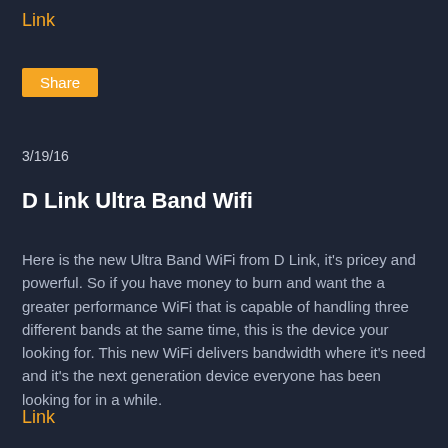Link
Share
3/19/16
D Link Ultra Band Wifi
Here is the new Ultra Band WiFi from D Link, it's pricey and powerful. So if you have money to burn and want the a greater performance WiFi that is capable of handling three different bands at the same time, this is the device your looking for. This new WiFi delivers bandwidth where it's need and it's the next generation device everyone has been looking for in a while.
Link